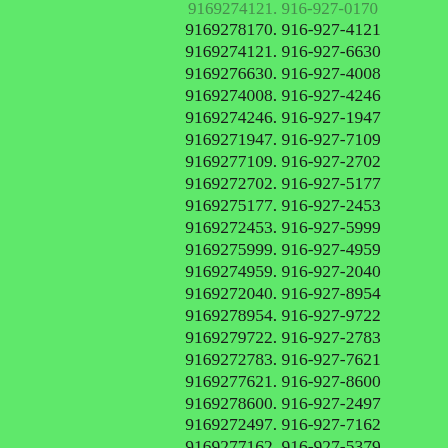9169278170. 916-927-4121
9169274121. 916-927-6630
9169276630. 916-927-4008
9169274008. 916-927-4246
9169274246. 916-927-1947
9169271947. 916-927-7109
9169277109. 916-927-2702
9169272702. 916-927-5177
9169275177. 916-927-2453
9169272453. 916-927-5999
9169275999. 916-927-4959
9169274959. 916-927-2040
9169272040. 916-927-8954
9169278954. 916-927-9722
9169279722. 916-927-2783
9169272783. 916-927-7621
9169277621. 916-927-8600
9169278600. 916-927-2497
9169272497. 916-927-7162
9169277162. 916-927-5379
9169275379. 916-927-2643
9169272643. 916-927-7052
9169277052. 916-927-2420
9169272420. 916-927-7597
9169277597. 916-927-5025